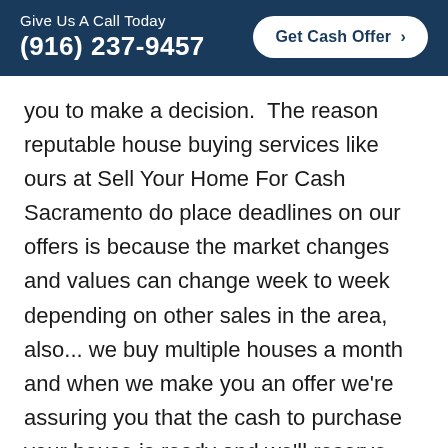Give Us A Call Today
(916) 237-9457
you to make a decision.  The reason reputable house buying services like ours at Sell Your Home For Cash Sacramento do place deadlines on our offers is because the market changes and values can change week to week depending on other sales in the area, also... we buy multiple houses a month and when we make you an offer we're assuring you that the cash to purchase your house is ready and we'll reserve that cash for several days so if you do want to sell your house, we can close on your schedule.  If you feel the offer isn't a fit for you, then we'll re-invite the offer but